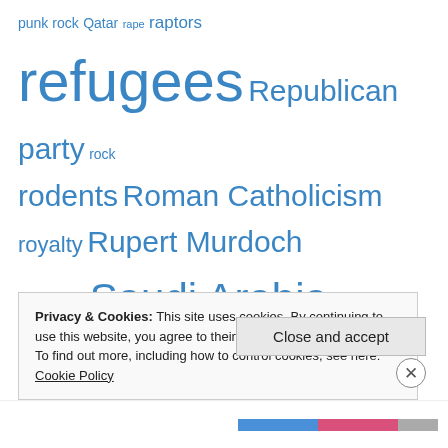punk rock Qatar rape raptors refugees Republican party rock rodents Roman Catholicism royalty Rupert Murdoch Russia Saudi Arabia Scotland sculpture seals sexual abuse sharks Shell slavery snakes Somalia South Africa South America Spain spiders swans Sweden Syria terrorism Texas Texel Thailand theatre The Hague Tony Blair torture travel Triassic Tunisia Turkey turtles UAE Uganda UK Ukraine USA Utrecht Veluwe Vietnam Voorne vultures Wales
Privacy & Cookies: This site uses cookies. By continuing to use this website, you agree to their use. To find out more, including how to control cookies, see here: Cookie Policy
Close and accept